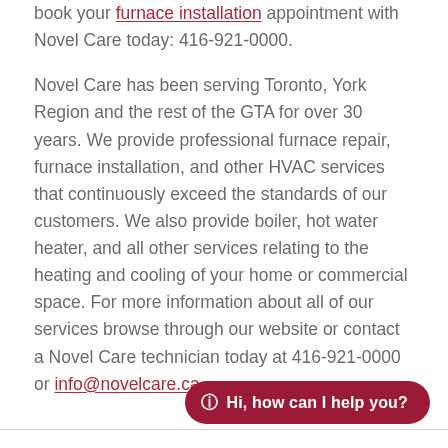book your furnace installation appointment with Novel Care today: 416-921-0000.
Novel Care has been serving Toronto, York Region and the rest of the GTA for over 30 years. We provide professional furnace repair, furnace installation, and other HVAC services that continuously exceed the standards of our customers. We also provide boiler, hot water heater, and all other services relating to the heating and cooling of your home or commercial space. For more information about all of our services browse through our website or contact a Novel Care technician today at 416-921-0000 or info@novelcare.ca